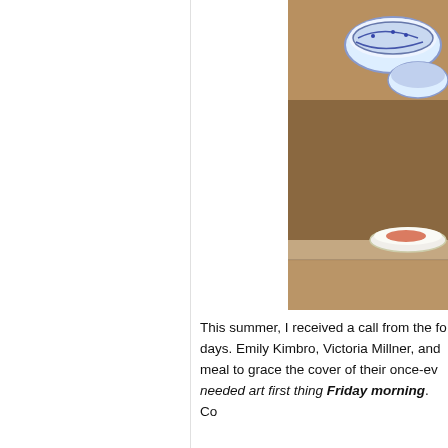[Figure (photo): Partial view of a photo showing ceramic bowls and a plate, possibly food items, cropped at the right edge of the page.]
This summer, I received a call from the fo days. Emily Kimbro, Victoria Millner, and meal to grace the cover of their once-ev needed art first thing Friday morning. Co
We agreed that they send me a "wish lis choice for BBQ, Big Red—and that I'd hav